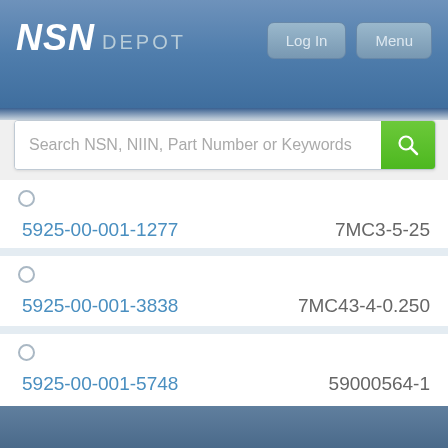NSN DEPOT
Search NSN, NIIN, Part Number or Keywords
5925-00-001-1277  7MC3-5-25
5925-00-001-3838  7MC43-4-0.250
5925-00-001-5748  59000564-1